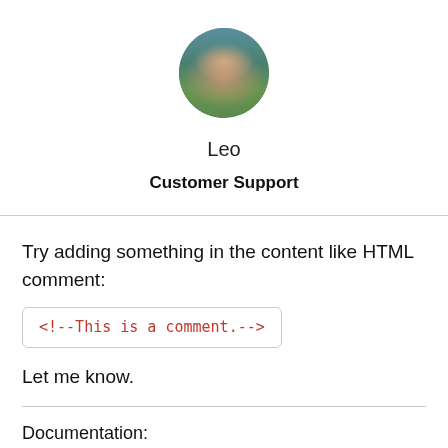[Figure (photo): Circular avatar photo of a young man outdoors with mountains/sky background]
Leo
Customer Support
Try adding something in the content like HTML comment:
<!--This is a comment.-->
Let me know.
Documentation:
http://docs.generatepress.com/
Adding CSS:
http://docs.generatepress.com/article/a